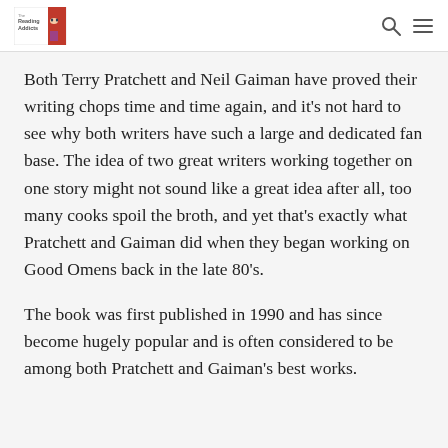The Reading Addicts [logo] [search icon] [menu icon]
Both Terry Pratchett and Neil Gaiman have proved their writing chops time and time again, and it's not hard to see why both writers have such a large and dedicated fan base. The idea of two great writers working together on one story might not sound like a great idea after all, too many cooks spoil the broth, and yet that's exactly what Pratchett and Gaiman did when they began working on Good Omens back in the late 80's.
The book was first published in 1990 and has since become hugely popular and is often considered to be among both Pratchett and Gaiman's best works.